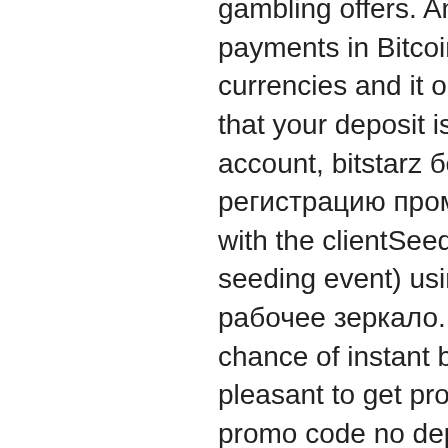gambling offers. Another fortunate thing is that payments in Bitcoins are faster compared to fiat currencies and it only takes several minutes to see that your deposit is already shown up to your account, bitstarz бездепозитный бонус за регистрацию промокод. First, it mixes the hash with the clientSeed (decided by the provably fair seeding event) using hmac-sha256, bitstarz рабочее зеркало. Secondly it gives a 1 in 101 chance of instant busting. It is always extremely pleasant to get promotions and bonuses, bitstarz promo code no deposit 2021. Thus, it is our next criteria. Since its launch, BitStarz has become both the most popular Bitcoin gambling site and a major rival to traditional online casinos. With thousands of innovative games to choose from and a mega-collection of slots games, bitstarz casino 30 gratisspinn. For work in the